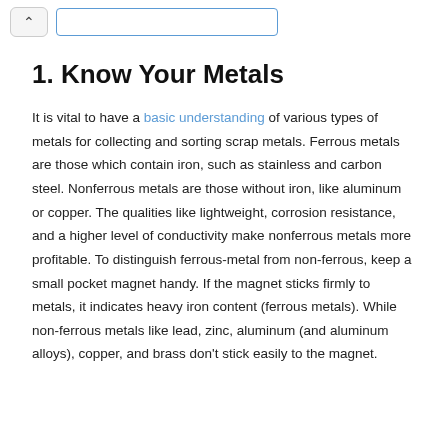1. Know Your Metals
It is vital to have a basic understanding of various types of metals for collecting and sorting scrap metals. Ferrous metals are those which contain iron, such as stainless and carbon steel. Nonferrous metals are those without iron, like aluminum or copper. The qualities like lightweight, corrosion resistance, and a higher level of conductivity make nonferrous metals more profitable. To distinguish ferrous-metal from non-ferrous, keep a small pocket magnet handy. If the magnet sticks firmly to metals, it indicates heavy iron content (ferrous metals). While non-ferrous metals like lead, zinc, aluminum (and aluminum alloys), copper, and brass don't stick easily to the magnet.